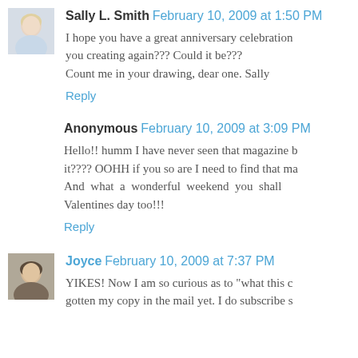[Figure (photo): Avatar photo of Sally L. Smith, a woman with short blonde hair]
Sally L. Smith February 10, 2009 at 1:50 PM
I hope you have a great anniversary celebration you creating again??? Could it be??? Count me in your drawing, dear one. Sally
Reply
Anonymous February 10, 2009 at 3:09 PM
Hello!! humm I have never seen that magazine b it???? OOHH if you so are I need to find that ma And what a wonderful weekend you shall Valentines day too!!!
Reply
[Figure (photo): Avatar photo of Joyce, a woman]
Joyce February 10, 2009 at 7:37 PM
YIKES! Now I am so curious as to "what this c gotten my copy in the mail yet. I do subscribe s